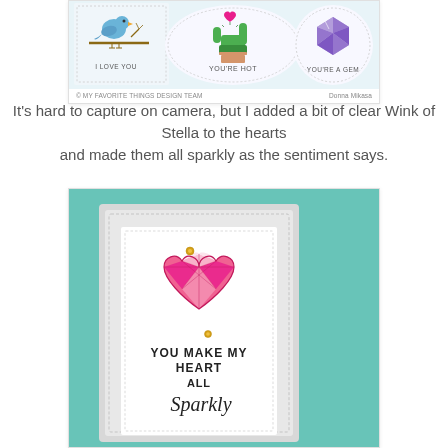[Figure (photo): Top portion of a crafting card image showing three cards: one with a blue bird on a branch with 'I LOVE YOU', one with a cactus labeled 'YOU'RE HOT', and one circular card with a purple gem labeled 'YOU'RE A GEM'. Caption reads '© MY FAVORITE THINGS DESIGN TEAM' and 'Donna Mikasa'.]
It's hard to capture on camera, but I added a bit of clear Wink of Stella to the hearts and made them all sparkly as the sentiment says.
[Figure (photo): A handmade greeting card on a teal background. The card has layered white panels with stitched borders. A pink geometric faceted heart gem is at the top center. Below it reads 'YOU MAKE MY HEART ALL Sparkly' in mixed print and script lettering.]